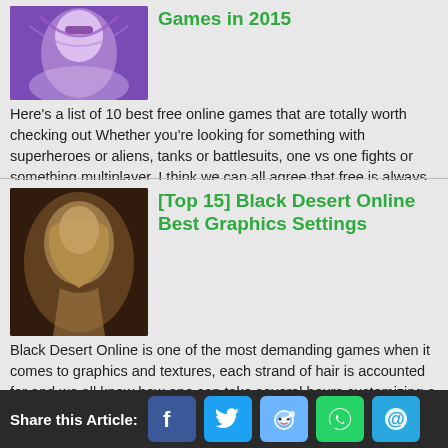[Figure (photo): Stylized fantasy female game character with purple mask and feathers]
Games in 2015
Here's a list of 10 best free online games that are totally worth checking out  Whether you're looking for something with superheroes or aliens, tanks or battlesuits, one vs one fights or something multiplayer, I think we can all agree that free is always better. So without further adieu,...
2 comments
[Figure (photo): Black Desert Online character in golden armor]
[Top 15] Black Desert Online Best Graphics Settings
Black Desert Online is one of the most demanding games when it comes to graphics and textures, each strand of hair is accounted for and we all know how one can take several hours customizing a character due to the sheer amount of detail Pearl Abyss had placed in their design system and even more so...
0 comments
Share this Article: